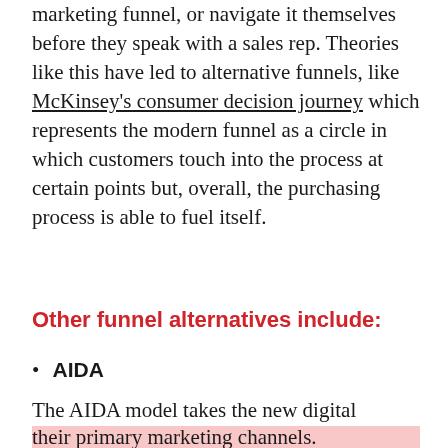marketing funnel, or navigate it themselves before they speak with a sales rep. Theories like this have led to alternative funnels, like McKinsey's consumer decision journey which represents the modern funnel as a circle in which customers touch into the process at certain points but, overall, the purchasing process is able to fuel itself.
Other funnel alternatives include:
AIDA
The AIDA model takes the new digital landscape into account and is often used by brands that use social media as one of their primary marketing channels.